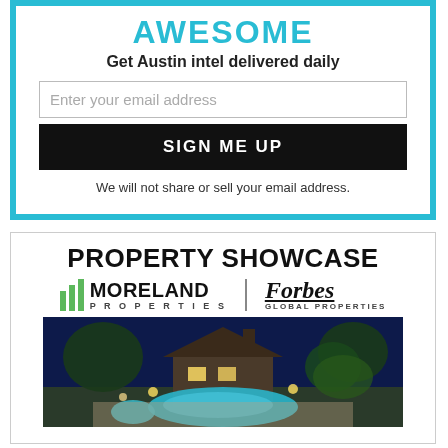AWESOME
Get Austin intel delivered daily
Enter your email address
SIGN ME UP
We will not share or sell your email address.
PROPERTY SHOWCASE
[Figure (logo): Moreland Properties | Forbes Global Properties logo]
[Figure (photo): Luxury property with pool at night, illuminated trees, stone patio, and house in background]